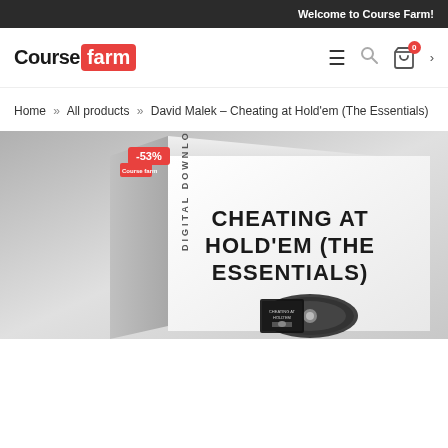Welcome to Course Farm!
[Figure (logo): Course Farm logo with 'Course' in black bold and 'farm' in white on red rounded rectangle background]
Home » All products » David Malek – Cheating at Hold'em (The Essentials)
[Figure (photo): Product box illustration showing 'CHEATING AT HOLD'EM (THE ESSENTIALS)' text on a white box with a DVD disc visible. Red -53% discount badge in top left area.]